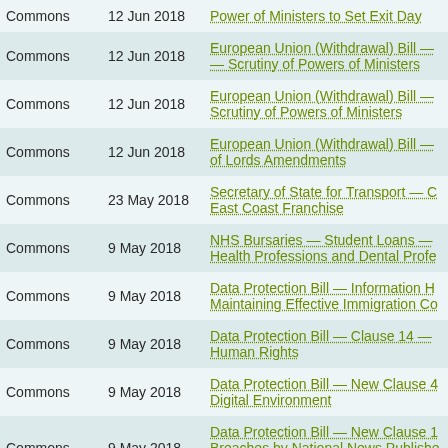| Chamber | Date | Title |
| --- | --- | --- |
| Commons | 12 Jun 2018 | Power of Ministers to Set Exit Day |
| Commons | 12 Jun 2018 | European Union (Withdrawal) Bill — — Scrutiny of Powers of Ministers |
| Commons | 12 Jun 2018 | European Union (Withdrawal) Bill — Scrutiny of Powers of Ministers |
| Commons | 12 Jun 2018 | European Union (Withdrawal) Bill — of Lords Amendments |
| Commons | 23 May 2018 | Secretary of State for Transport — C East Coast Franchise |
| Commons | 9 May 2018 | NHS Bursaries — Student Loans — Health Professions and Dental Profe |
| Commons | 9 May 2018 | Data Protection Bill — Information H Maintaining Effective Immigration Co |
| Commons | 9 May 2018 | Data Protection Bill — Clause 14 — Human Rights |
| Commons | 9 May 2018 | Data Protection Bill — New Clause 4 Digital Environment |
| Commons | 9 May 2018 | Data Protection Bill — New Clause 1 Breaches by National News Publishe Organisations |
| Commons | 8 May 2018 | Criminal Legal Aid — Determination |